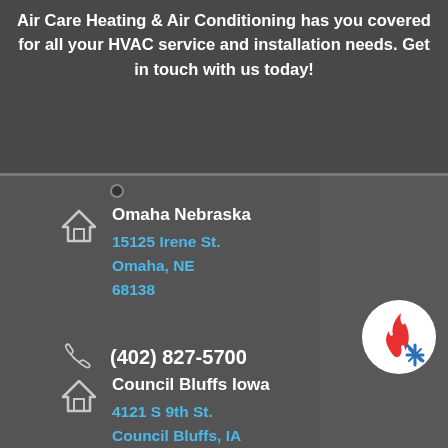Air Care Heating & Air Conditioning has you covered for all your HVAC service and installation needs. Get in touch with us today!
Omaha Nebraska
15125 Irene St.
Omaha, NE
68138
(402) 827-5700
Council Bluffs Iowa
4121 S 9th St.
Council Bluffs, IA
51501
[Figure (logo): Air Care Heating & Air Conditioning logo: white circle with red flame and blue snowflake icons]